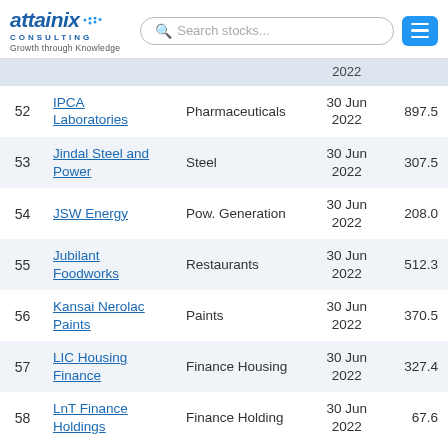attainix CONSULTING | Growth through Knowledge | Search stocks...
| # | Company | Sector | Date | Price |
| --- | --- | --- | --- | --- |
|  |  |  | 2022 |  |
| 52 | IPCA Laboratories | Pharmaceuticals | 30 Jun 2022 | 897.5 |
| 53 | Jindal Steel and Power | Steel | 30 Jun 2022 | 307.5 |
| 54 | JSW Energy | Pow. Generation | 30 Jun 2022 | 208.0 |
| 55 | Jubilant Foodworks | Restaurants | 30 Jun 2022 | 512.3 |
| 56 | Kansai Nerolac Paints | Paints | 30 Jun 2022 | 370.5 |
| 57 | LIC Housing Finance | Finance Housing | 30 Jun 2022 | 327.4 |
| 58 | LnT Finance Holdings | Finance Holding | 30 Jun 2022 | 67.6 |